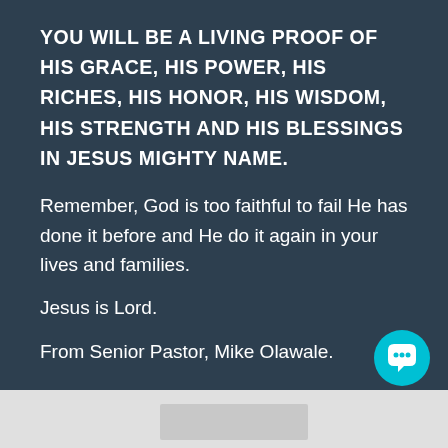YOU WILL BE A LIVING PROOF OF HIS GRACE, HIS POWER, HIS RICHES, HIS HONOR, HIS WISDOM, HIS STRENGTH AND HIS BLESSINGS IN JESUS MIGHTY NAME.
Remember, God is too faithful to fail He has done it before and He do it again in your lives and families.
Jesus is Lord.
From Senior Pastor, Mike Olawale.